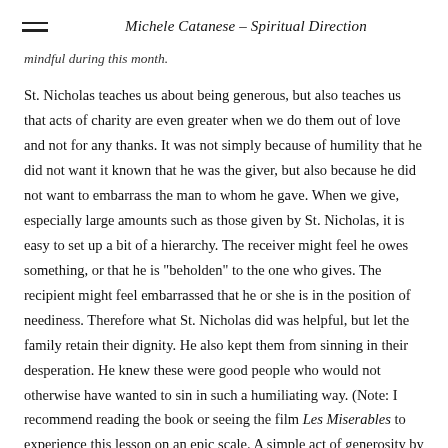Michele Catanese – Spiritual Direction
mindful during this month.
St. Nicholas teaches us about being generous, but also teaches us that acts of charity are even greater when we do them out of love and not for any thanks. It was not simply because of humility that he did not want it known that he was the giver, but also because he did not want to embarrass the man to whom he gave. When we give, especially large amounts such as those given by St. Nicholas, it is easy to set up a bit of a hierarchy. The receiver might feel he owes something, or that he is "beholden" to the one who gives. The recipient might feel embarrassed that he or she is in the position of neediness. Therefore what St. Nicholas did was helpful, but let the family retain their dignity. He also kept them from sinning in their desperation. He knew these were good people who would not otherwise have wanted to sin in such a humiliating way. (Note: I recommend reading the book or seeing the film Les Miserables to experience this lesson on an epic scale. A simple act of generosity by a bishop, directed to a man who was driven to steal, changed the man's life. I have heard that Victor Hugo had chosen St. Nicholas to be the basis for this bishop's character.